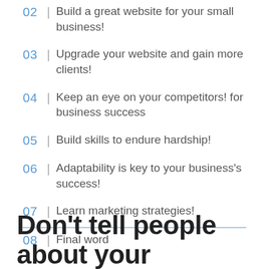02 | Build a great website for your small business!
03 | Upgrade your website and gain more clients!
04 | Keep an eye on your competitors! for business success
05 | Build skills to endure hardship!
06 | Adaptability is key to your business's success!
07 | Learn marketing strategies!
08 | Final word
Don't tell people about your